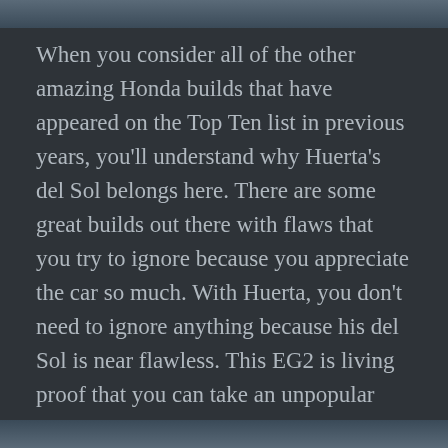[Figure (photo): Top partial image strip of a car, cropped at top of page]
When you consider all of the other amazing Honda builds that have appeared on the Top Ten list in previous years, you'll understand why Huerta's del Sol belongs here. There are some great builds out there with flaws that you try to ignore because you appreciate the car so much. With Huerta, you don't need to ignore anything because his del Sol is near flawless. This EG2 is living proof that you can take an unpopular Honda platform and turn it into a complete stunner.
[Figure (photo): Bottom partial image strip of a car, cropped at bottom of page]